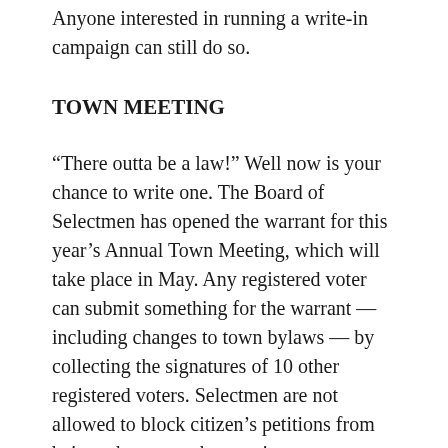Anyone interested in running a write-in campaign can still do so.
TOWN MEETING
“There outta be a law!” Well now is your chance to write one. The Board of Selectmen has opened the warrant for this year’s Annual Town Meeting, which will take place in May. Any registered voter can submit something for the warrant — including changes to town bylaws — by collecting the signatures of 10 other registered voters. Selectmen are not allowed to block citizen’s petitions from being taken up at the meeting.